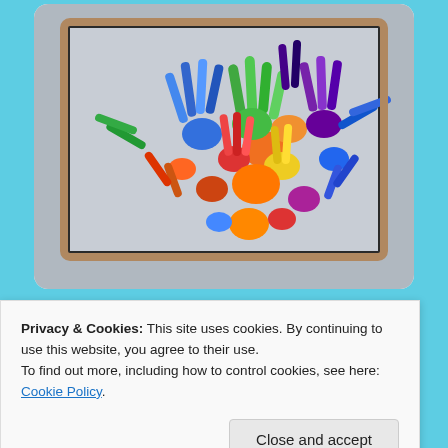[Figure (photo): A photo of colorful painted handprints arranged on a window or glass surface, forming a tree or bouquet shape with many bright colors including orange, green, blue, red, purple, and yellow.]
Y6 Growing Together
Privacy & Cookies: This site uses cookies. By continuing to use this website, you agree to their use.
To find out more, including how to control cookies, see here: Cookie Policy
Close and accept